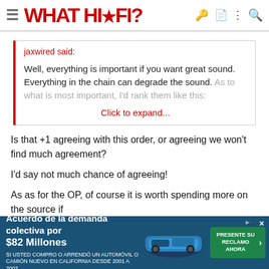WHAT HI*FI?
jaxwired said:

Well, everything is important if you want great sound. Everything in the chain can degrade the sound. As to what is most important, I'd rank them like this:

Click to expand...
Is that +1 agreeing with this order, or agreeing we won't find much agreement?
I'd say not much chance of agreeing!
As as for the OP, of course it is worth spending more on the source if
[Figure (screenshot): Advertisement banner: Acuerdo de la demanda colectiva por $82 Millones - SI USTED COMPRO O ARRENDÓ UN AUTOMÓVIL O CAMIÓN NUEVO EN CALIFORNIA DESDE 2001 A 2003. PRESENTE SU RECLAMO AHORA button with car image.]